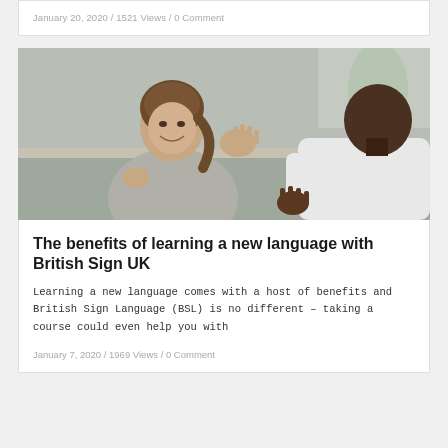January 20, 2020 / 1521 Views / 0 Comment
[Figure (photo): Two people communicating in sign language, sitting facing each other. A woman with a ponytail smiles and uses her hands to sign, while a man in a white shirt gestures back. Indoor setting with soft background.]
The benefits of learning a new language with British Sign UK
Learning a new language comes with a host of benefits and British Sign Language (BSL) is no different – taking a course could even help you with
January 7, 2020 / 1969 Views / 0 Comment